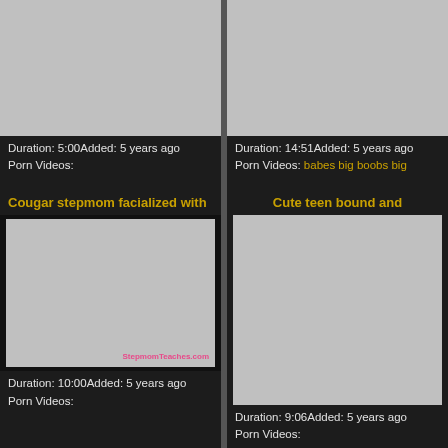[Figure (screenshot): Video thumbnail placeholder (gray) for top-left video]
Duration: 5:00Added: 5 years ago
Porn Videos:
[Figure (screenshot): Video thumbnail placeholder (gray) for top-right video]
Duration: 14:51Added: 5 years ago
Porn Videos: babes big boobs big
Cougar stepmom facialized with
[Figure (screenshot): Video thumbnail showing two people on a couch, watermark: StepmomTeaches.com]
Duration: 10:00Added: 5 years ago
Porn Videos:
Cute teen bound and
[Figure (screenshot): Video thumbnail placeholder (gray) for bottom-right video]
Duration: 9:06Added: 5 years ago
Porn Videos: